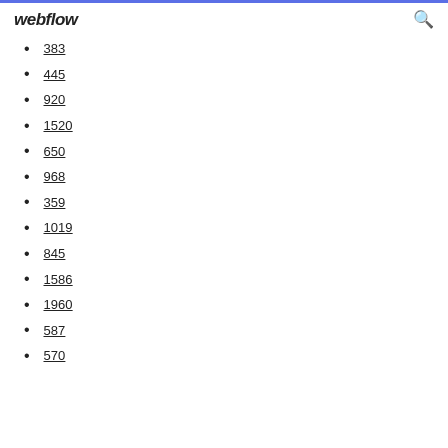webflow
383
445
920
1520
650
968
359
1019
845
1586
1960
587
570